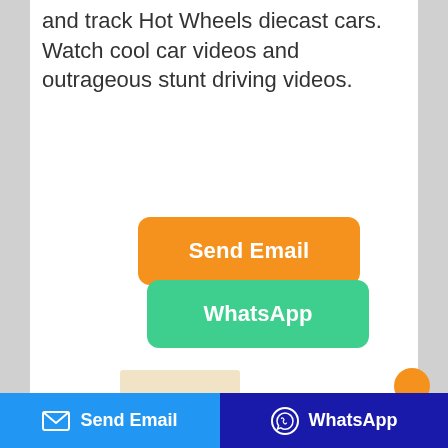and track Hot Wheels diecast cars. Watch cool car videos and outrageous stunt driving videos.
[Figure (screenshot): Orange 'Send Email' button]
[Figure (screenshot): Green 'WhatsApp' button]
[Figure (screenshot): Bottom bar with blue 'Send Email' button (envelope icon) and dark blue 'WhatsApp' button (WhatsApp icon)]